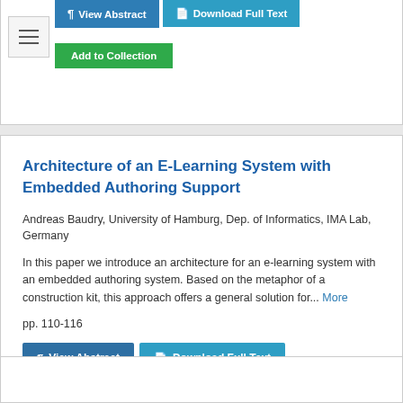[Figure (screenshot): Top portion of a previous search result card showing View Abstract, Download Full Text, and Add to Collection buttons, partially cut off at the top of the page]
Architecture of an E-Learning System with Embedded Authoring Support
Andreas Baudry, University of Hamburg, Dep. of Informatics, IMA Lab, Germany
In this paper we introduce an architecture for an e-learning system with an embedded authoring system. Based on the metaphor of a construction kit, this approach offers a general solution for... More
pp. 110-116
[Figure (screenshot): View Abstract button (dark blue) and Download Full Text button (teal/light blue)]
[Figure (screenshot): Add to Collection button (green)]
[Figure (screenshot): Bottom of page showing the start of another search result card, partially cut off]